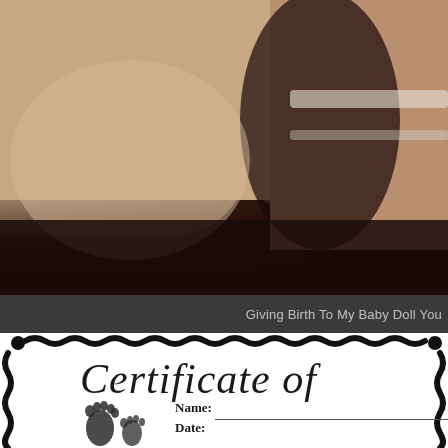[Figure (photo): Close-up photo of what appears to be baby doll or infant, with beige/tan tones, dark background on right side]
Giving Birth To My Baby Doll You
[Figure (illustration): Partial view of a Certificate of Birth document with decorative black border, cursive title text 'Certificate of', a name field with line, a date field, and baby footprints graphic in lower left]